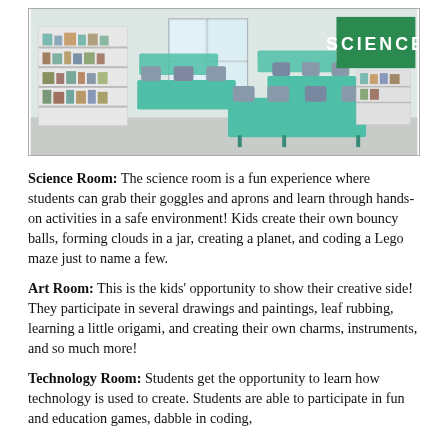[Figure (photo): A science classroom with green lab tables, blue chairs, shelving units with supplies along the left wall, a window in the background, and a large green banner on the right wall reading 'SCIENCE' in white block letters.]
Science Room: The science room is a fun experience where students can grab their goggles and aprons and learn through hands-on activities in a safe environment!  Kids create their own bouncy balls, forming clouds in a jar, creating a planet, and coding a Lego maze just to name a few.
Art Room: This is the kids' opportunity to show their creative side!  They participate in several drawings and paintings, leaf rubbing, learning a little origami, and creating their own charms, instruments, and so much more!
Technology Room:  Students get the opportunity to learn how technology is used to create. Students are able to participate in fun and education games, dabble in coding,